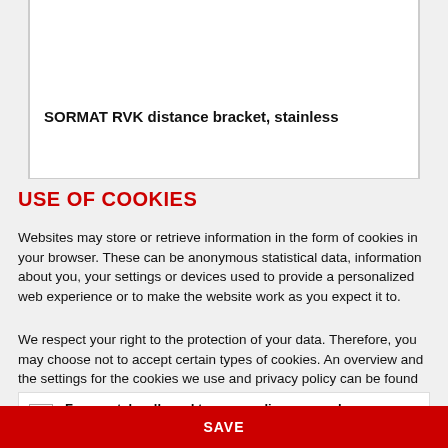SORMAT RVK distance bracket, stainless
USE OF COOKIES
Websites may store or retrieve information in the form of cookies in your browser. These can be anonymous statistical data, information about you, your settings or devices used to provide a personalized web experience or to make the website work as you expect it to.
We respect your right to the protection of your data. Therefore, you may choose not to accept certain types of cookies. An overview and the settings for the cookies we use and privacy policy can be found here.
Ferrometal s allowed to personalize your web experience. (i)
By saving, you confirm that you have understood the specified settings for cookies and agree to them.
SAVE